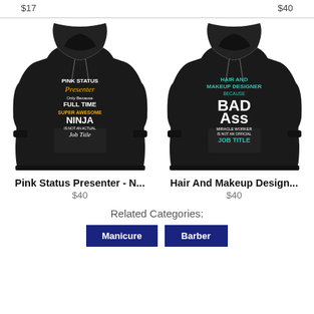$17
$40
[Figure (photo): Black hoodie with text: PINK STATUS Presenter Only Because FULL TIME SUPER AWESOME NINJA IS NOT AN ACTUAL Job Title]
[Figure (photo): Black hoodie with text: HAIR AND MAKEUP DESIGNER BECAUSE BAD ASS MIRACLE WORKER IS NOT AN OFFICIAL JOB TITLE]
Pink Status Presenter - N...
$40
Hair And Makeup Design...
$40
Related Categories:
Manicure
Barber